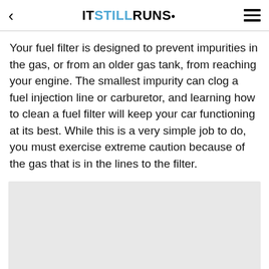ITSTILLRUNS.
Your fuel filter is designed to prevent impurities in the gas, or from an older gas tank, from reaching your engine. The smallest impurity can clog a fuel injection line or carburetor, and learning how to clean a fuel filter will keep your car functioning at its best. While this is a very simple job to do, you must exercise extreme caution because of the gas that is in the lines to the filter.
[Figure (other): Gray advertisement placeholder box]